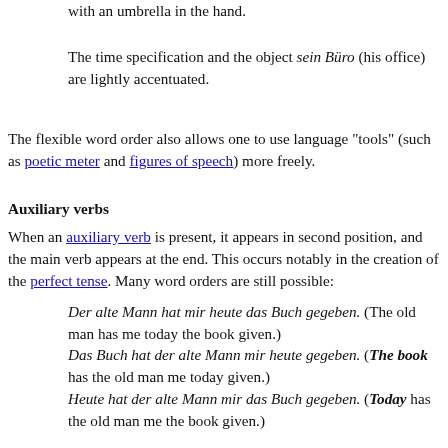with an umbrella in the hand.
The time specification and the object sein Büro (his office) are lightly accentuated.
The flexible word order also allows one to use language "tools" (such as poetic meter and figures of speech) more freely.
Auxiliary verbs
When an auxiliary verb is present, it appears in second position, and the main verb appears at the end. This occurs notably in the creation of the perfect tense. Many word orders are still possible:
Der alte Mann hat mir heute das Buch gegeben. (The old man has me today the book given.)
Das Buch hat der alte Mann mir heute gegeben. (The book has the old man me today given.)
Heute hat der alte Mann mir das Buch gegeben. (Today has the old man me the book given.)
The main verb may appear in first position to put stress on the action itself. The auxiliary verb is still in second position.
Gegeben hat mir der alte Mann das Buch heute. (Given has